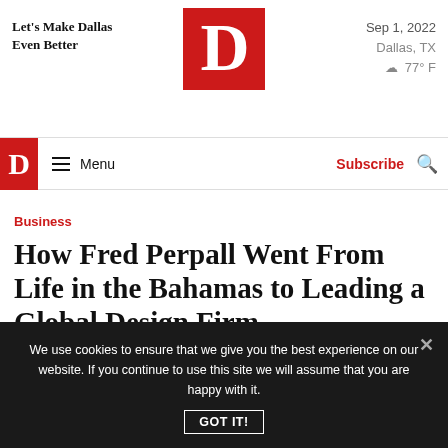Let's Make Dallas Even Better
[Figure (logo): D Magazine large red square logo with white letter D]
Sep 1, 2022
Dallas, TX
77° F
Menu | Subscribe | Search
Business
How Fred Perpall Went From Life in the Bahamas to Leading a Global Design Firm
We use cookies to ensure that we give you the best experience on our website. If you continue to use this site we will assume that you are happy with it.
GOT IT!